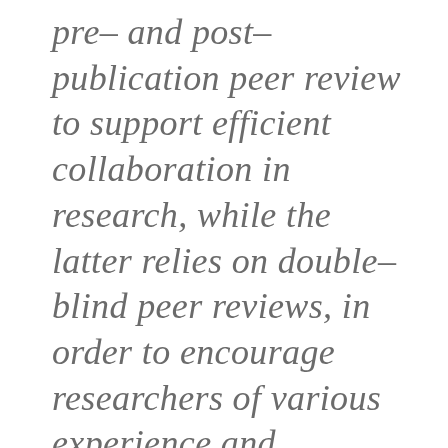pre- and post-publication peer review to support efficient collaboration in research, while the latter relies on double-blind peer reviews, in order to encourage researchers of various experience and background to share